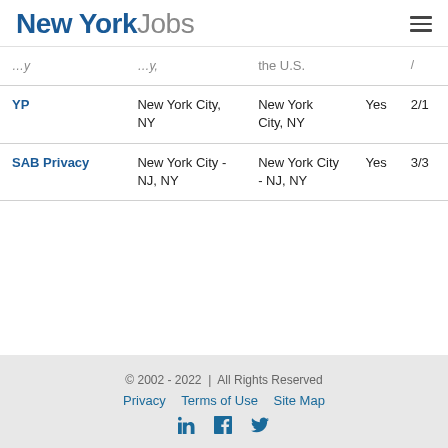New York Jobs
| Company | Location | Metro Area | Remote | Date |
| --- | --- | --- | --- | --- |
|  |  | the U.S. |  |  |
| YP | New York City, NY | New York City, NY | Yes | 2/1 |
| SAB Privacy | New York City - NJ, NY | New York City - NJ, NY | Yes | 3/3 |
© 2002 - 2022 | All Rights Reserved
Privacy | Terms of Use | Site Map